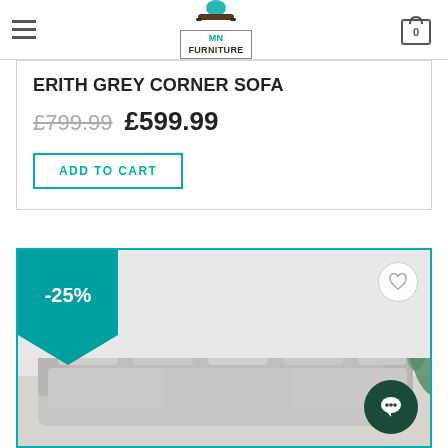[Figure (logo): MN Furniture logo with sofa icon and teal accent, with cart icon showing 0 items]
ERITH GREY CORNER SOFA
£799.99  £599.99
ADD TO CART
[Figure (photo): Grey corner sofa with patterned cushions in a white room setting, with -25% discount badge and wishlist heart icon]